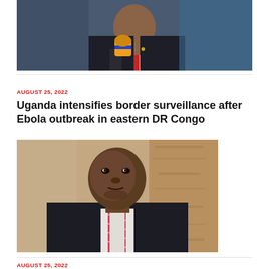[Figure (photo): Man in dark suit speaking into a yellow and blue microphone]
AUGUST 25, 2022
Uganda intensifies border surveillance after Ebola outbreak in eastern DR Congo
[Figure (photo): Man in dark suit with pink striped tie looking at camera, standing outdoors]
AUGUST 25, 2022